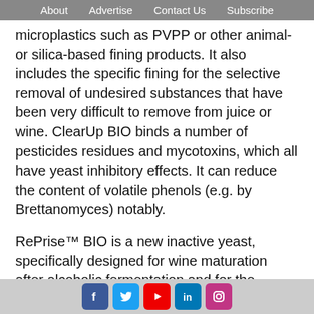About   Advertise   Contact Us   Subscribe
microplastics such as PVPP or other animal- or silica-based fining products. It also includes the specific fining for the selective removal of undesired substances that have been very difficult to remove from juice or wine. ClearUp BIO binds a number of pesticides residues and mycotoxins, which all have yeast inhibitory effects. It can reduce the content of volatile phenols (e.g. by Brettanomyces) notably.
RePrise™ BIO is a new inactive yeast, specifically designed for wine maturation after alcoholic fermentation and for the treatment of aged wines. It offers additional functions and is permitted as treatment agent for wine and all other wine categories.
In Canada, RePrise™ BIO and all other EC organic certified 2B products can be used by winemakers for the organic certi-
Facebook Twitter YouTube LinkedIn Instagram